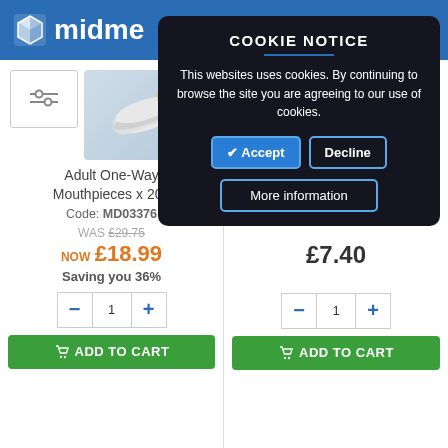[Figure (screenshot): Midmed website header with logo showing stylized cube icon and partial text 'midme' in white on blue background]
COOKIE NOTICE
This websites uses cookies. By continuing to browse the site you are agreeing to our use of cookies.
✔ Accept  Decline
More information
Adult One-Way Mouthpieces x 200
Code: MD03376
WAS £29.75
NOW £18.99
Saving you 36%
Standard EU Scale Mini-Wright Peak Flo...
Code: MD03377
£7.40